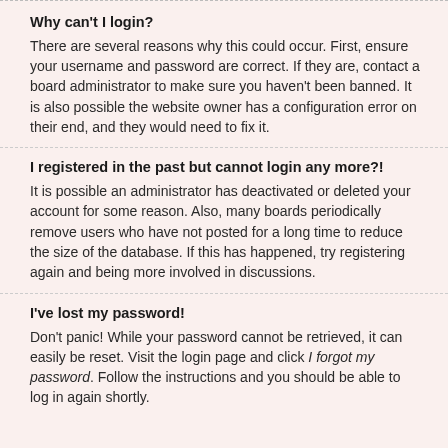Why can't I login?
There are several reasons why this could occur. First, ensure your username and password are correct. If they are, contact a board administrator to make sure you haven't been banned. It is also possible the website owner has a configuration error on their end, and they would need to fix it.
I registered in the past but cannot login any more?!
It is possible an administrator has deactivated or deleted your account for some reason. Also, many boards periodically remove users who have not posted for a long time to reduce the size of the database. If this has happened, try registering again and being more involved in discussions.
I've lost my password!
Don't panic! While your password cannot be retrieved, it can easily be reset. Visit the login page and click I forgot my password. Follow the instructions and you should be able to log in again shortly.